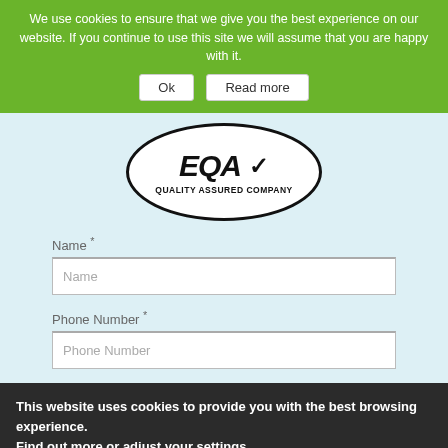We use cookies to ensure that we give you the best experience on our website. If you continue to use this site we will assume that you are happy with it. Ok Read more
[Figure (logo): EQA logo in an oval border with checkmark and text QUALITY ASSURED COMPANY]
Name *
Name (input field placeholder)
Phone Number *
Phone Number (input field placeholder)
This website uses cookies to provide you with the best browsing experience. Find out more or adjust your settings.
Accept